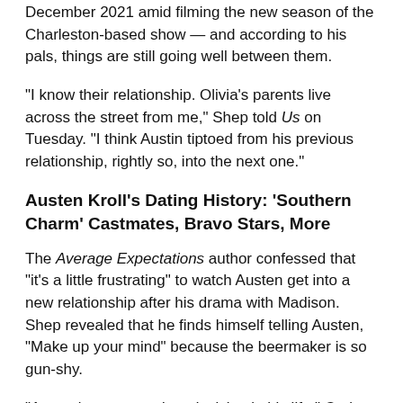December 2021 amid filming the new season of the Charleston-based show — and according to his pals, things are still going well between them.
“I know their relationship. Olivia’s parents live across the street from me,” Shep told Us on Tuesday. “I think Austin tiptoed from his previous relationship, rightly so, into the next one.”
Austen Kroll’s Dating History: ‘Southern Charm’ Castmates, Bravo Stars, More
The Average Expectations author confessed that “it’s a little frustrating” to watch Austen get into a new relationship after his drama with Madison. Shep revealed that he finds himself telling Austen, “Make up your mind” because the beermaker is so gun-shy.
“Austen’s never made a decision in his life,” Craig told Us,